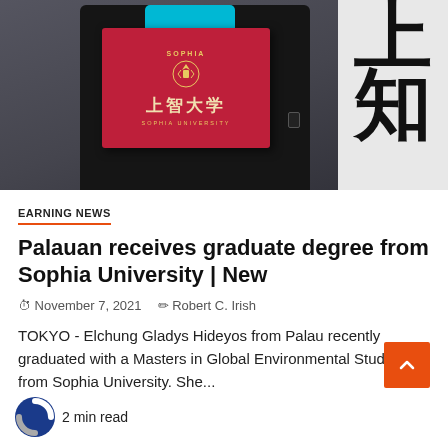[Figure (photo): Person in black jacket holding a red Sophia University diploma folder, with Japanese kanji characters visible on a white banner to the right]
EARNING NEWS
Palauan receives graduate degree from Sophia University | New
November 7, 2021   Robert C. Irish
TOKYO - Elchung Gladys Hideyos from Palau recently graduated with a Masters in Global Environmental Studies from Sophia University. She...
2 min read